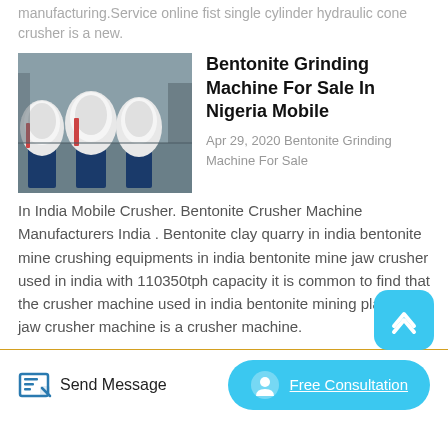manufacturing.Service online fist single cylinder hydraulic cone crusher is a new.
Bentonite Grinding Machine For Sale In Nigeria Mobile
Apr 29, 2020 Bentonite Grinding Machine For Sale In India Mobile Crusher. Bentonite Crusher Machine Manufacturers India . Bentonite clay quarry in india bentonite mine crushing equipments in india bentonite mine jaw crusher used in india with 110350tph capacity it is common to find that the crusher machine used in india bentonite mining plant is jaw crusher machine is a crusher machine.
[Figure (photo): Industrial grinding machines (white cylinder mills) on a factory floor]
Send Message
Free Consultation